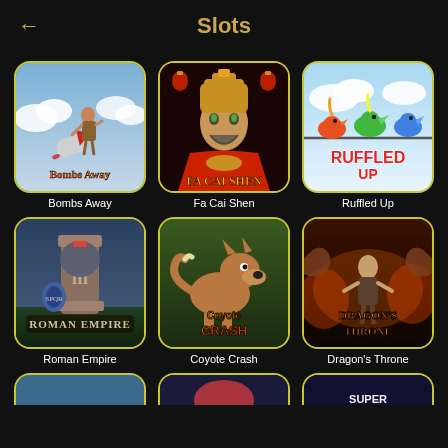Slots
[Figure (screenshot): Slots game grid showing 6 game thumbnails in 2 rows of 3: Bombs Away, Fa Cai Shen, Ruffled Up, Roman Empire, Coyote Crash, Dragon's Throne, with partial third row visible]
Bombs Away
Fa Cai Shen
Ruffled Up
Roman Empire
Coyote Crash
Dragon's Throne